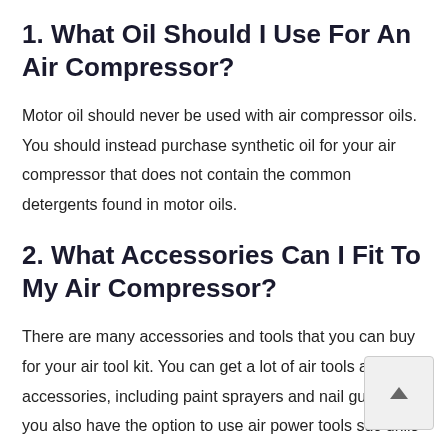1. What Oil Should I Use For An Air Compressor?
Motor oil should never be used with air compressor oils. You should instead purchase synthetic oil for your air compressor that does not contain the common detergents found in motor oils.
2. What Accessories Can I Fit To My Air Compressor?
There are many accessories and tools that you can buy for your air tool kit. You can get a lot of air tools and accessories, including paint sprayers and nail guns. But you also have the option to use air power tools such as drills and sanders and angle grinders.